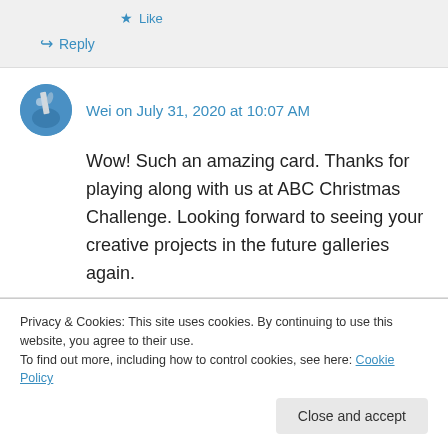★ Like
↪ Reply
Wei on July 31, 2020 at 10:07 AM
Wow! Such an amazing card. Thanks for playing along with us at ABC Christmas Challenge. Looking forward to seeing your creative projects in the future galleries again.
Privacy & Cookies: This site uses cookies. By continuing to use this website, you agree to their use.
To find out more, including how to control cookies, see here: Cookie Policy
Close and accept